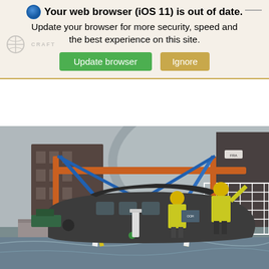🌐 Your web browser (iOS 11) is out of date. Update your browser for more security, speed and the best experience on this site. [Update browser] [Ignore]
[Figure (photo): A large dark grey boat or marine vessel being lowered by a crane with orange horizontal booms and blue/yellow straps. Workers in yellow high-visibility vests and yellow hard hats guide the vessel near a waterside dock. Urban buildings and a white railing structure visible in the background.]